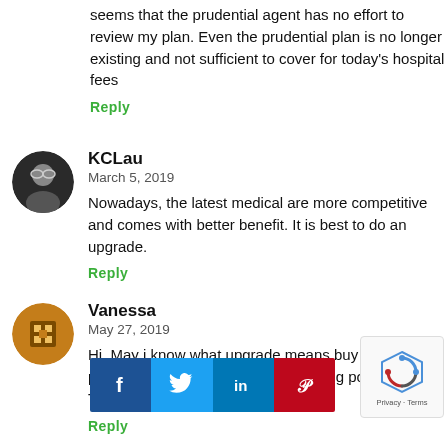seems that the prudential agent has no effort to review my plan. Even the prudential plan is no longer existing and not sufficient to cover for today's hospital fees
Reply
KCLau
March 5, 2019
Nowadays, the latest medical are more competitive and comes with better benefit. It is best to do an upgrade.
Reply
Vanessa
May 27, 2019
Hi, May i know what upgrade means buy a new policy? or you can upgrade an existing policy? Thanks
Reply
KCLau
May 28,
It is increasing the existing policy (same policy number) in terms of coverage, riders and possibly